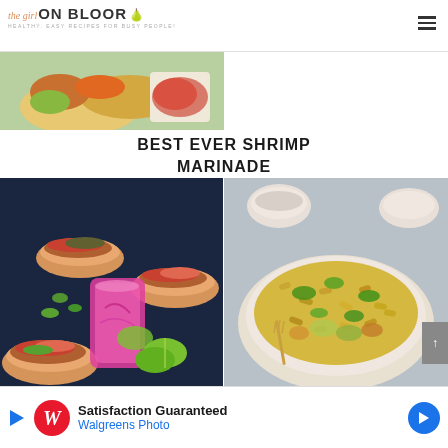the girl ON BLOOR - HEALTHY, EASY RECIPES FOR BUSY PEOPLE!
[Figure (photo): Partial view of a shrimp and vegetable dish with a bowl of seasoning]
BEST EVER SHRIMP MARINADE
[Figure (photo): Tacos with colorful toppings, a pink drink in a mason jar, and lime wedges]
[Figure (photo): Bowl of pasta with vegetables and pesto sauce]
[Figure (other): Advertisement banner: Satisfaction Guaranteed - Walgreens Photo]